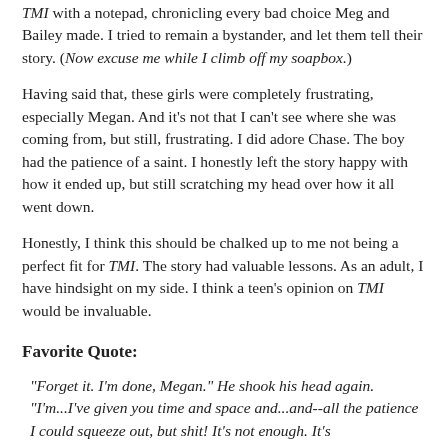TMI with a notepad, chronicling every bad choice Meg and Bailey made. I tried to remain a bystander, and let them tell their story. (Now excuse me while I climb off my soapbox.)
Having said that, these girls were completely frustrating, especially Megan. And it's not that I can't see where she was coming from, but still, frustrating. I did adore Chase. The boy had the patience of a saint. I honestly left the story happy with how it ended up, but still scratching my head over how it all went down.
Honestly, I think this should be chalked up to me not being a perfect fit for TMI. The story had valuable lessons. As an adult, I have hindsight on my side. I think a teen's opinion on TMI would be invaluable.
Favorite Quote:
"Forget it. I'm done, Megan." He shook his head again. "I'm...I've given you time and space and...and--all the patience I could squeeze out, but shit! It's not enough. It's